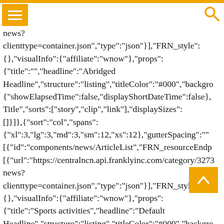news?
clienttype=container.json","type":"json"}],"FRN_style":
{},"visualInfo":{"affiliate":"wnow"},"props":
{"title":"","headline":"Abridged Headline","structure":"listing","titleColor":"#000","backgro
{"showElapsedTime":false,"displayShortDateTime":false},
Title","sorts":["story","clip","link"],"displaySizes":
[]}]},{"sort":"col","spans":
{"xl":3,"lg":3,"md":3,"sm":12,"xs":12},"gutterSpacing":""
[{"id":"components/news/ArticleList","FRN_resourceEndp
[{"url":"https://centralncn.api.franklyinc.com/category/3273
news?
clienttype=container.json","type":"json"}],"FRN_style":
{},"visualInfo":{"affiliate":"wnow"},"props":
{"title":"Sports activities","headline":"Default
Headline","structure":"listing","titleColor":"#000","backgro
{"showElapsedTime":false,"displayShortDateTime":false},
Title","sorts":["story","clip","link"],"displaySizes":